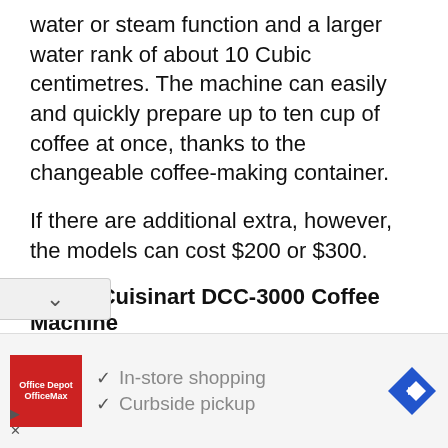water or steam function and a larger water rank of about 10 Cubic centimetres. The machine can easily and quickly prepare up to ten cup of coffee at once, thanks to the changeable coffee-making container.
If there are additional extra, however, the models can cost $200 or $300.
4. The Cuisinart DCC-3000 Coffee Machine
[Figure (photo): Partial photo of the Cuisinart DCC-3000 coffee machine, showing a stainless steel body with black top, multiple compartments visible.]
[Figure (screenshot): Advertisement bar showing Office Depot / OfficeMax logo (red square), checkmarks for In-store shopping and Curbside pickup, and a blue navigation arrow icon on the right.]